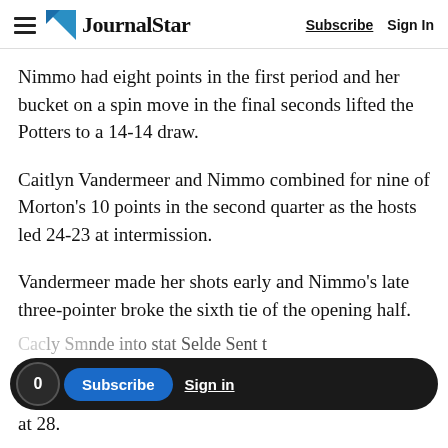JournalStar  Subscribe  Sign In
Nimmo had eight points in the first period and her bucket on a spin move in the final seconds lifted the Potters to a 14-14 draw.
Caitlyn Vandermeer and Nimmo combined for nine of Morton’s 10 points in the second quarter as the hosts led 24-23 at intermission.
Vandermeer made her shots early and Nimmo’s late three-pointer broke the sixth tie of the opening half.
at 28.